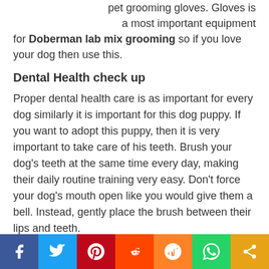pet grooming gloves. Gloves is a most important equipment for Doberman lab mix grooming so if you love your dog then use this.
Dental Health check up
Proper dental health care is as important for every dog similarly it is important for this dog puppy. If you want to adopt this puppy, then it is very important to take care of his teeth. Brush your dog's teeth at the same time every day, making their daily routine training very easy. Don't force your dog's mouth open like you would give them a bell. Instead, gently place the brush between their lips and teeth.
Love & affection